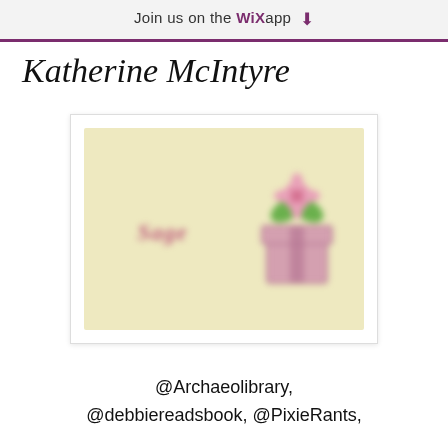Join us on the WiX app ⬇
Katherine McIntyre
[Figure (photo): Blurred greeting card or book cover image with light yellow/green background, pink cursive text on left side, and a green and pink floral/gift illustration on the right side.]
@Archaeolibrary, @debbiereadsbook, @PixieRants,